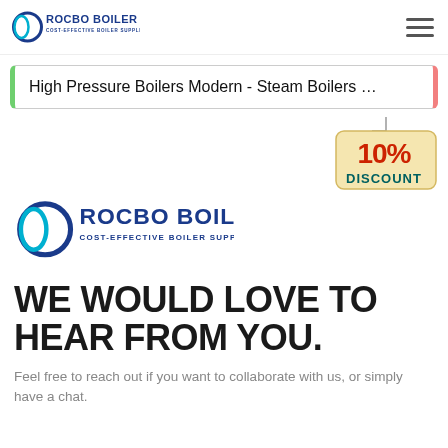ROCBO BOILER - COST-EFFECTIVE BOILER SUPPLIER
High Pressure Boilers Modern - Steam Boilers …
[Figure (logo): 10% DISCOUNT badge hanging sign]
[Figure (logo): Rocbo Boiler cost-effective boiler supplier logo, large version]
WE WOULD LOVE TO HEAR FROM YOU.
Feel free to reach out if you want to collaborate with us, or simply have a chat.